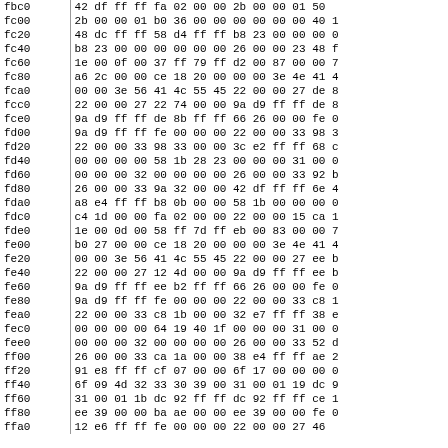| addr | data |
| --- | --- |
| fbc0 | 42 df ff ff fa 02 00 00 2b 00 00 01 50 |
| fc00 | 2b 00 00 01 b0 36 00 00 00 00 00 00 40 1 |
| fc20 | 48 dc ff ff 58 d4 ff ff b8 23 00 00 00 0 |
| fc40 | b8 23 00 00 00 00 00 00 26 00 00 23 48 f |
| fc60 | 1e 00 0f 00 37 ff 79 ff d2 00 87 00 00 7 |
| fc80 | a6 2c 00 00 ce 18 20 00 00 00 3e 4e 41 4 |
| fca0 | 00 00 3e 56 41 4c 55 45 22 00 00 27 de 8 |
| fcc0 | 22 00 00 27 22 74 00 00 9a d9 ff ff de 8 |
| fce0 | 9a d9 ff ff de 8b ff ff 66 26 00 00 fe 0 |
| fd00 | 9a d9 ff ff fe 00 00 00 22 00 00 33 98 3 |
| fd20 | 22 00 00 33 98 33 00 00 3c e2 ff ff 68 c |
| fd40 | 00 00 00 00 58 1b 28 23 00 00 00 31 00 0 |
| fd60 | 00 00 00 32 00 00 00 00 26 00 00 33 92 b |
| fd80 | 26 00 00 33 9a 32 00 00 42 df ff ff 6e 4 |
| fda0 | a8 e4 ff ff b8 0b 00 00 58 1b 00 00 00 0 |
| fdc0 | c4 1d 00 00 fa 02 00 00 22 00 00 15 ca 1 |
| fde0 | 1e 00 0d 00 58 ff 7d ff eb 00 83 00 00 7 |
| fe00 | b0 27 00 00 ce 18 20 00 00 00 3e 4e 41 4 |
| fe20 | 00 00 3e 56 41 4c 55 45 22 00 00 27 ee b |
| fe40 | 22 00 00 27 12 4d 00 00 9a d9 ff ff ee b |
| fe60 | 9a d9 ff ff ee b2 ff ff 66 26 00 00 fe 0 |
| fe80 | 9a d9 ff ff fe 00 00 00 22 00 00 33 c8 1 |
| fea0 | 22 00 00 33 c8 1b 00 00 32 e7 ff ff 38 e |
| fec0 | 00 00 00 00 64 19 40 1f 00 00 00 31 00 0 |
| fee0 | 00 00 00 32 00 00 00 00 26 00 00 33 52 d |
| ff00 | 26 00 00 33 ca 1a 00 00 38 e4 ff ff ae 2 |
| ff20 | 91 e8 ff ff cf 07 00 00 6f 17 00 00 00 0 |
| ff40 | 6f 09 4d 32 33 30 39 00 31 00 01 19 dc 9 |
| ff60 | 31 00 01 1b dc 92 ff ff dc 92 ff ff ce 1 |
| ff80 | ee 39 00 00 ba ae 00 00 ee 39 00 00 fe 0 |
| ffa0 | 12 e6 ff ff fe 00 00 00 22 00 00 27 46 |